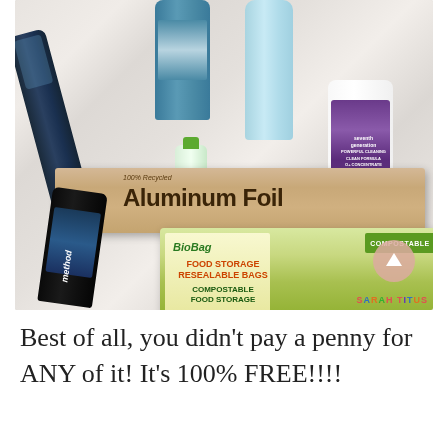[Figure (photo): Overhead flat-lay photo on a marble surface showing various eco-friendly household products: Seventh Generation bottles (shampoo/conditioner, laundry detergent, dish soap), a small green supplement bottle, an 'If You Care 100% Recycled Aluminum Foil' box, a BioBag Food Storage Resealable Bags (compostable) box, a Method daily shower cleaner black bottle. A pink 'back to top' arrow button is visible in the bottom right corner. 'SARAH TITUS' watermark in colorful text at bottom right.]
Best of all, you didn't pay a penny for ANY of it! It's 100% FREE!!!!